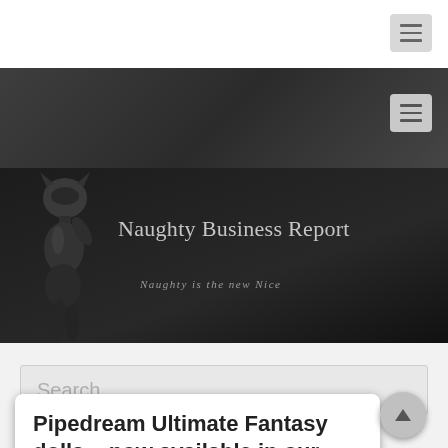[Figure (screenshot): White top navigation bar with hamburger menu icon button at top-right]
[Figure (screenshot): Dark grey navigation bar with hamburger menu icon button at top-right]
[Figure (illustration): Dark banner header with silhouette of a woman in cat mask, title 'Naughty Business Report' and subtitle 'Naughty is the new Nice']
Search ...
Pipedream Ultimate Fantasy dolls – now available in our shop